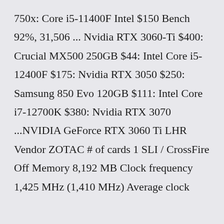750x: Core i5-11400F Intel $150 Bench 92%, 31,506 ... Nvidia RTX 3060-Ti $400: Crucial MX500 250GB $44: Intel Core i5-12400F $175: Nvidia RTX 3050 $250: Samsung 850 Evo 120GB $111: Intel Core i7-12700K $380: Nvidia RTX 3070 ...NVIDIA GeForce RTX 3060 Ti LHR Vendor ZOTAC # of cards 1 SLI / CrossFire Off Memory 8,192 MB Clock frequency 1,425 MHz (1,410 MHz) Average clock